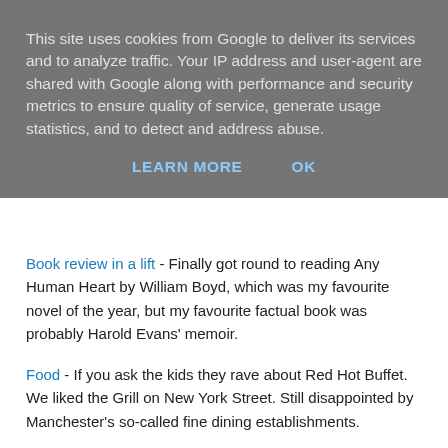This site uses cookies from Google to deliver its services and to analyze traffic. Your IP address and user-agent are shared with Google along with performance and security metrics to ensure quality of service, generate usage statistics, and to detect and address abuse.
LEARN MORE   OK
Book review in a lift - Finally got round to reading Any Human Heart by William Boyd, which was my favourite novel of the year, but my favourite factual book was probably Harold Evans' memoir.
Food - If you ask the kids they rave about Red Hot Buffet. We liked the Grill on New York Street. Still disappointed by Manchester's so-called fine dining establishments.
Politics - Cameron is at his best when he is bold - he has done well enough over Libya and on Europe, and he has seen his Chancellor win the argument over the need to cut the public sector. Many in the party are